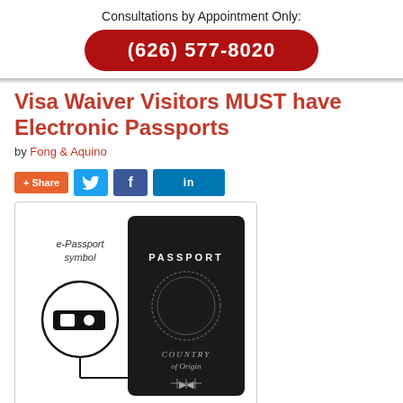Consultations by Appointment Only:
(626) 577-8020
Visa Waiver Visitors MUST have Electronic Passports
by Fong & Aquino
[Figure (infographic): Social share buttons: Share, Twitter bird icon, Facebook f icon, LinkedIn in icon]
[Figure (illustration): Illustration of an electronic passport showing the e-Passport symbol (a circle with a camera chip icon and pointer line) next to a black passport booklet cover reading PASSPORT, COUNTRY of Origin, and the biometric chip symbol.]
Both Los Angeles and Palm Springs are